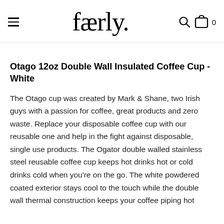faerly.
Otago 12oz Double Wall Insulated Coffee Cup - White
The Otago cup was created by Mark & Shane, two Irish guys with a passion for coffee, great products and zero waste. Replace your disposable coffee cup with our reusable one and help in the fight against disposable, single use products. The Ogator double walled stainless steel reusable coffee cup keeps hot drinks hot or cold drinks cold when you're on the go. The white powdered coated exterior stays cool to the touch while the double wall thermal construction keeps your coffee piping hot